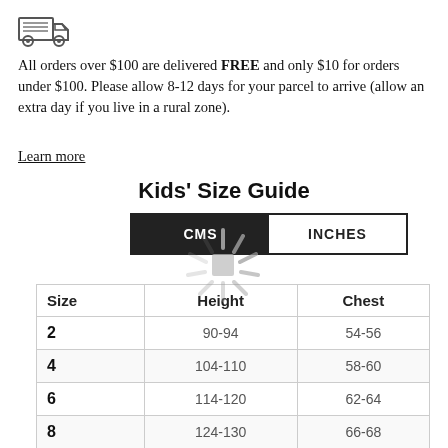[Figure (illustration): Truck/delivery icon — outline drawing of a delivery truck facing left]
All orders over $100 are delivered FREE and only $10 for orders under $100. Please allow 8-12 days for your parcel to arrive (allow an extra day if you live in a rural zone).
Learn more
Kids' Size Guide
[Figure (screenshot): Toggle button with CMS (active/dark) and INCHES (inactive/light) options, with a loading spinner overlay in the center]
| Size | Height | Chest |
| --- | --- | --- |
| 2 | 90-94 | 54-56 |
| 4 | 104-110 | 58-60 |
| 6 | 114-120 | 62-64 |
| 8 | 124-130 | 66-68 |
| 10 | 134-142 | 71-73 |